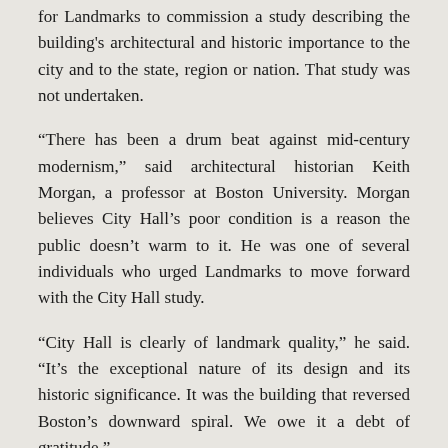for Landmarks to commission a study describing the building's architectural and historic importance to the city and to the state, region or nation. That study was not undertaken.
“There has been a drum beat against mid-century modernism,” said architectural historian Keith Morgan, a professor at Boston University. Morgan believes City Hall’s poor condition is a reason the public doesn’t warm to it. He was one of several individuals who urged Landmarks to move forward with the City Hall study.
“City Hall is clearly of landmark quality,” he said. “It’s the exceptional nature of its design and its historic significance. It was the building that reversed Boston’s downward spiral. We owe it a debt of gratitude.”